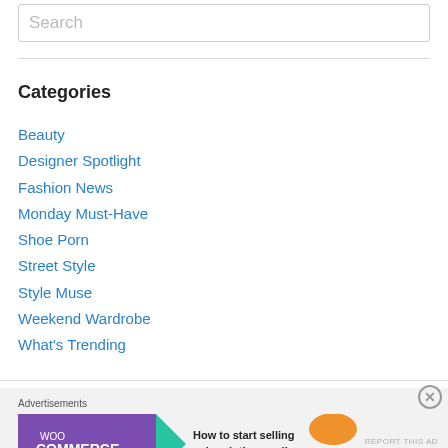Search
Categories
Beauty
Designer Spotlight
Fashion News
Monday Must-Have
Shoe Porn
Street Style
Style Muse
Weekend Wardrobe
What's Trending
Advertisements
[Figure (screenshot): WooCommerce advertisement banner: 'How to start selling subscriptions online']